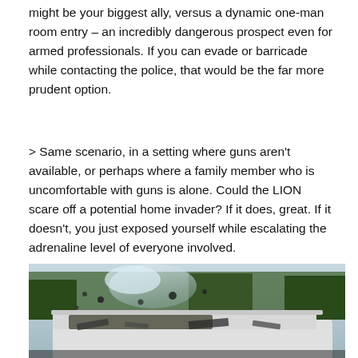might be your biggest ally, versus a dynamic one-man room entry – an incredibly dangerous prospect even for armed professionals. If you can evade or barricade while contacting the police, that would be the far more prudent option.
> Same scenario, in a setting where guns aren't available, or perhaps where a family member who is uncomfortable with guns is alone. Could the LION scare off a potential home invader? If it does, great. If it doesn't, you just exposed yourself while escalating the adrenaline level of everyone involved.
[Figure (photo): A damaged white vehicle with debris, smoke, and destruction visible, photographed outdoors in a wooded area.]